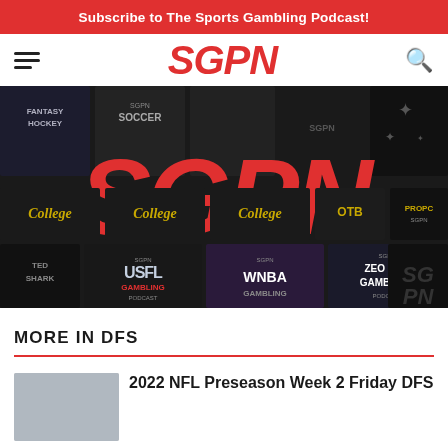Subscribe to The Sports Gambling Podcast!
[Figure (logo): SGPN logo in red italic bold text in the navigation bar]
[Figure (photo): SGPN podcast collage hero image showing large red SGPN logo in center surrounded by various podcast show thumbnails including College, USFL Gambling Podcast, WNBA Gambling, Zeo Run Gambling, Fantasy Hockey, and others on a dark background]
MORE IN DFS
2022 NFL Preseason Week 2 Friday DFS